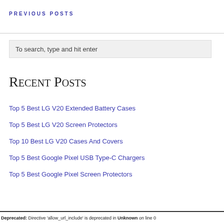PREVIOUS POSTS
To search, type and hit enter
Recent Posts
Top 5 Best LG V20 Extended Battery Cases
Top 5 Best LG V20 Screen Protectors
Top 10 Best LG V20 Cases And Covers
Top 5 Best Google Pixel USB Type-C Chargers
Top 5 Best Google Pixel Screen Protectors
Deprecated: Directive 'allow_url_include' is deprecated in Unknown on line 0